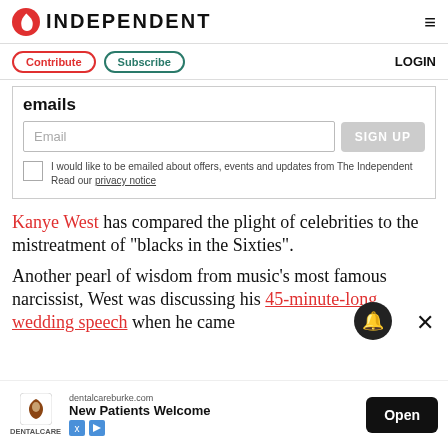INDEPENDENT
Contribute  Subscribe  LOGIN
emails
Email [input field] SIGN UP
I would like to be emailed about offers, events and updates from The Independent Read our privacy notice
Kanye West has compared the plight of celebrities to the mistreatment of “blacks in the Sixties”.
Another pearl of wisdom from music’s most famous narcissist, West was discussing his 45-minute-long wedding speech when he came
[Figure (screenshot): Ad banner for dentalcareburke.com: New Patients Welcome, Open button]